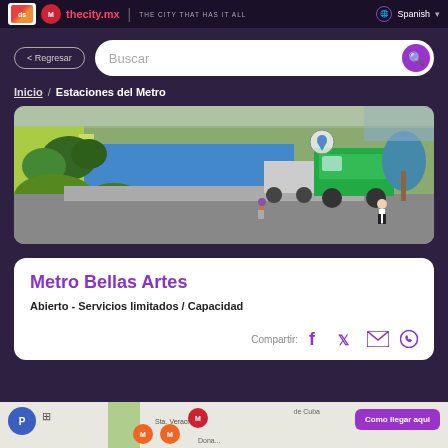thecity.mx | THE CITY THAT HAS IT ALL | Spanish
< Regresar
Buscar
Inicio / Estaciones del Metro
[Figure (photo): Street-level photo of an urban area with green trees, a blue wall, a green van, and pedestrians on a paved road.]
Metro Bellas Artes
Abierto - Servicios limitados / Capacidad
Compartir:
[Figure (map): Map showing the location near Sta. Veracruz and Cuba streets with a 'Como llegar aqui' button.]